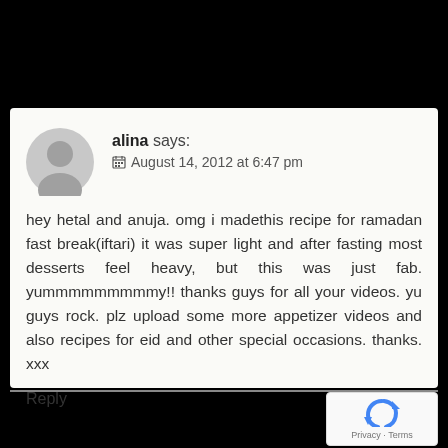alina says: August 14, 2012 at 6:47 pm
hey hetal and anuja. omg i madethis recipe for ramadan fast break(iftari) it was super light and after fasting most desserts feel heavy, but this was just fab. yummmmmmmmmy!! thanks guys for all your videos. yu guys rock. plz upload some more appetizer videos and also recipes for eid and other special occasions. thanks. xxx
Reply